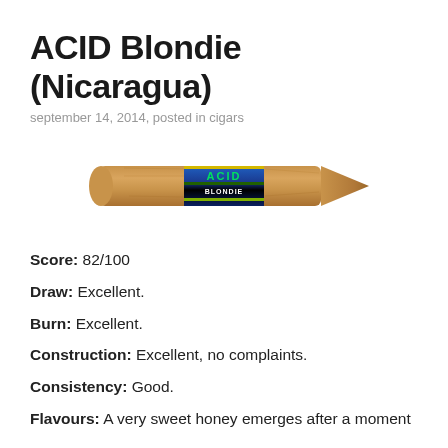ACID Blondie (Nicaragua)
september 14, 2014, posted in cigars
[Figure (photo): Photo of an ACID Blondie cigar with a colorful blue and black band featuring the ACID BLONDIE branding, on a white background. The cigar is torpedo-shaped with a tan/claro wrapper.]
Score: 82/100
Draw: Excellent.
Burn: Excellent.
Construction: Excellent, no complaints.
Consistency: Good.
Flavours: A very sweet honey emerges after a moment